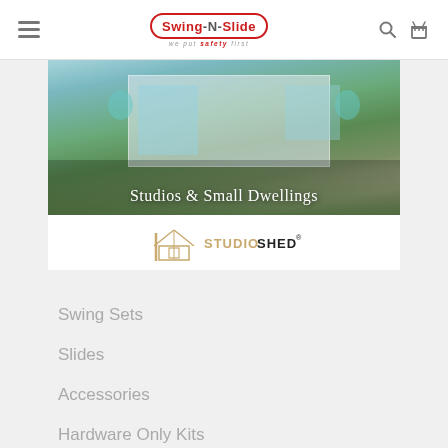Swing-N-Slide — we put safety first
[Figure (photo): Photo of a modern studio/small dwelling with contemporary outdoor furniture and grass lawn, overlaid with text 'Studios & Small Dwellings']
[Figure (logo): Studio Shed logo with house icon outline in tan/gold and text 'STUDIOSHED' in tan and black with registered trademark symbol]
Swing Sets
Slides
Accessories
Hardware Only Kits
Hardware